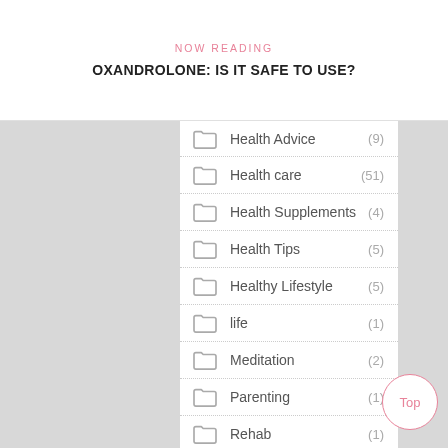NOW READING
OXANDROLONE: IS IT SAFE TO USE?
Health Advice (9)
Health care (51)
Health Supplements (4)
Health Tips (5)
Healthy Lifestyle (5)
life (1)
Meditation (2)
Parenting (1)
Rehab (1)
Skin care (10)
Weight Loss (3)